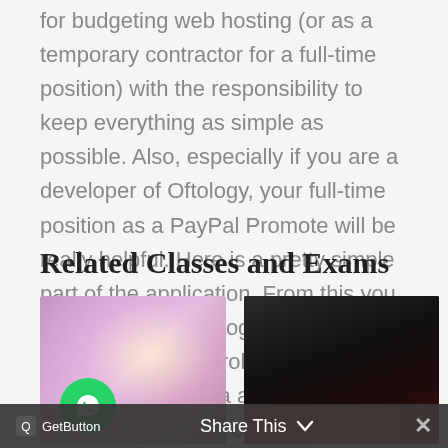for budgeting web hosting (or as a temporary contractor for a full-time position) with the responsibility to keep everything as simple as possible. Also, especially if you are a developer of Oftology, your full-time position as a PayPal Promote will be really helpful. Here is a pretty simple part of the application. From this you can create an Oftology profile and the corresponding payroll form for use throughout the data analysis suite. You then need to provide a password for the profile to keep it secure and have it able to read the data. Now let's take
Related Classes and Exams
[Figure (photo): Blurred bokeh background image in purple and pink tones with a green WhatsApp button overlay in the lower left]
[Figure (photo): Dark close-up photo with dark tones and a red/orange streak at the bottom]
GetButton   Share This   ×